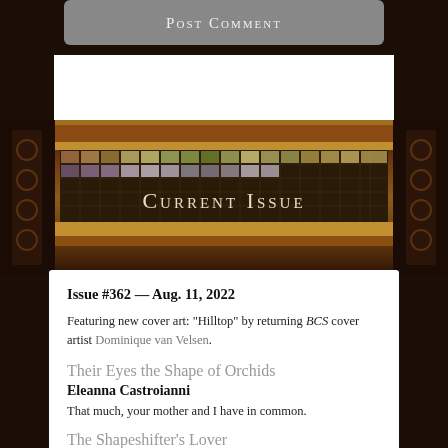Post Comment
[Figure (photo): Jukebox background image with ornate decorative panels and colorful grid display, with 'Current Issue' text overlay in small caps]
Current Issue
Issue #362 — Aug. 11, 2022
Featuring new cover art: "Hilltop" by returning BCS cover artist Dominique van Velsen.
Their Eyes the Shape of Orchids
Eleanna Castroianni
That much, your mother and I have in common.
The Shapeshifter's Lover
Autumn Canter
Dori had said into the Lorist's old ear, "The crow came to me. He